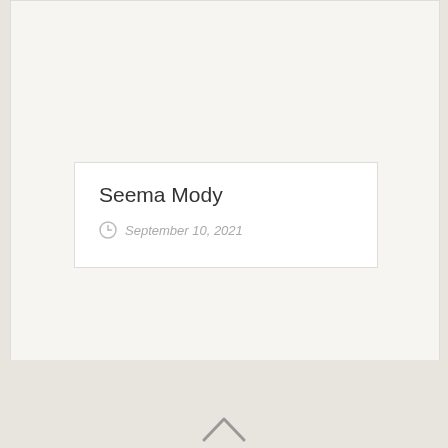Seema Mody
September 10, 2021
[Figure (illustration): Chevron/caret up arrow icon at bottom center of page]